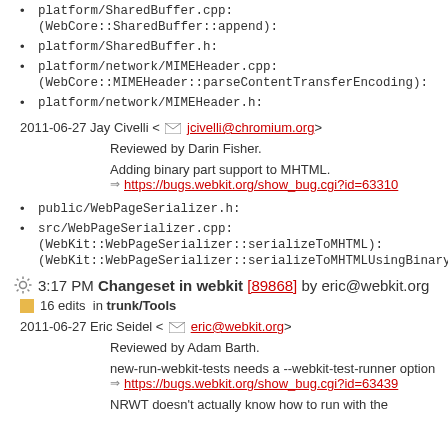platform/SharedBuffer.cpp: (WebCore::SharedBuffer::append):
platform/SharedBuffer.h:
platform/network/MIMEHeader.cpp: (WebCore::MIMEHeader::parseContentTransferEncoding):
platform/network/MIMEHeader.h:
2011-06-27 Jay Civelli <jcivelli@chromium.org>
Reviewed by Darin Fisher.
Adding binary part support to MHTML.
https://bugs.webkit.org/show_bug.cgi?id=63310
public/WebPageSerializer.h:
src/WebPageSerializer.cpp: (WebKit::WebPageSerializer::serializeToMHTML): (WebKit::WebPageSerializer::serializeToMHTMLUsingBinaryEncoding):
3:17 PM Changeset in webkit [89868] by eric@webkit.org
16 edits in trunk/Tools
2011-06-27 Eric Seidel <eric@webkit.org>
Reviewed by Adam Barth.
new-run-webkit-tests needs a --webkit-test-runner option
https://bugs.webkit.org/show_bug.cgi?id=63439
NRWT doesn't actually know how to run with the